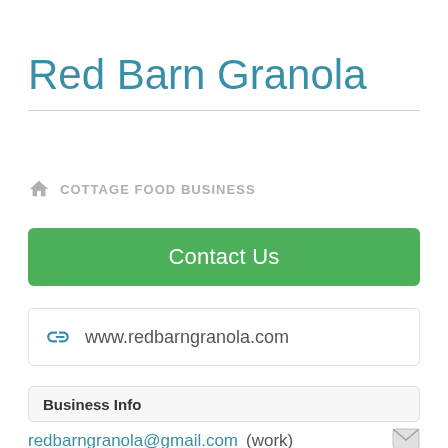Red Barn Granola
COTTAGE FOOD BUSINESS
Contact Us
www.redbarngranola.com
Business Info
redbarngranola@gmail.com (work)